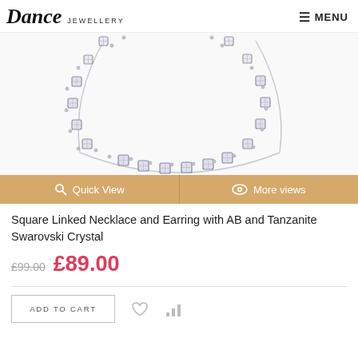Dance Jewellery | MENU
[Figure (photo): Close-up photo of a square linked crystal necklace with AB and Tanzanite Swarovski crystals on a white background]
Quick View | More views
Square Linked Necklace and Earring with AB and Tanzanite Swarovski Crystal
£99.00  £89.00
ADD TO CART